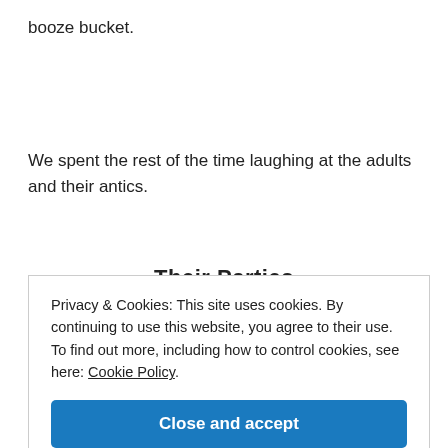booze bucket.
We spent the rest of the time laughing at the adults and their antics.
Their Parties
Privacy & Cookies: This site uses cookies. By continuing to use this website, you agree to their use.
To find out more, including how to control cookies, see here: Cookie Policy
Close and accept
their value in front of each player while drinking strons,